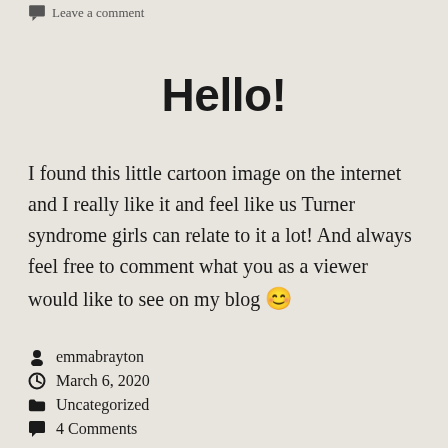Leave a comment
Hello!
I found this little cartoon image on the internet and I really like it and feel like us Turner syndrome girls can relate to it a lot! And always feel free to comment what you as a viewer would like to see on my blog 😊
emmabrayton
March 6, 2020
Uncategorized
4 Comments